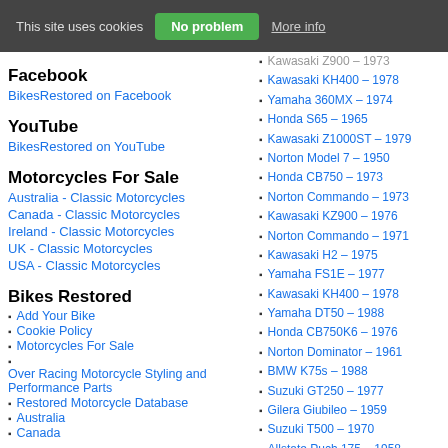This site uses cookies | No problem | More info
Facebook
BikesRestored on Facebook
YouTube
BikesRestored on YouTube
Motorcycles For Sale
Australia - Classic Motorcycles
Canada - Classic Motorcycles
Ireland - Classic Motorcycles
UK - Classic Motorcycles
USA - Classic Motorcycles
Bikes Restored
Add Your Bike
Cookie Policy
Motorcycles For Sale
Over Racing Motorcycle Styling and Performance Parts
Restored Motorcycle Database
Australia
Canada
Kawasaki Z900 – 1973
Kawasaki KH400 – 1978
Yamaha 360MX – 1974
Honda S65 – 1965
Kawasaki Z1000ST – 1979
Norton Model 7 – 1950
Honda CB750 – 1973
Norton Commando – 1973
Kawasaki KZ900 – 1976
Norton Commando – 1971
Kawasaki H2 – 1975
Yamaha FS1E – 1977
Kawasaki KH400 – 1978
Yamaha DT50 – 1988
Honda CB750K6 – 1976
Norton Dominator – 1961
BMW K75s – 1988
Suzuki GT250 – 1977
Gilera Giubileo – 1959
Suzuki T500 – 1970
Allstate Puch 175 – 1958
Yamaha RD250DX – 1979
Triumph T100 – 1952